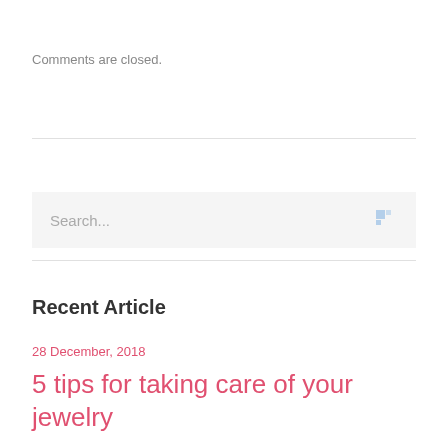Comments are closed.
[Figure (screenshot): Search input box with placeholder text 'Search...' and a small blue loading/spinner icon on the right]
Recent Article
28 December, 2018
5 tips for taking care of your jewelry